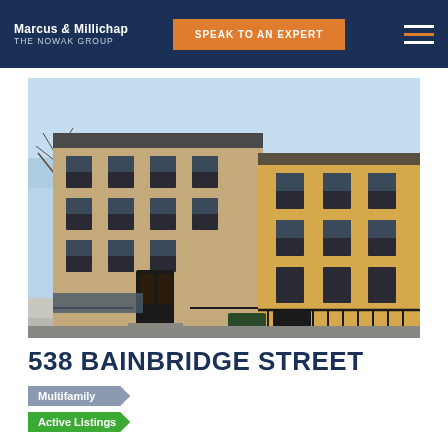Marcus & Millichap THE NOWAK GROUP
SPEAK TO AN EXPERT
[Figure (photo): Exterior street-level photograph of 538 Bainbridge Street, a multi-story brownstone/brick apartment building in Brooklyn, with a yellow adjacent building visible on the right and bare trees in the background.]
538 BAINBRIDGE STREET
Multifamily
Active Listings